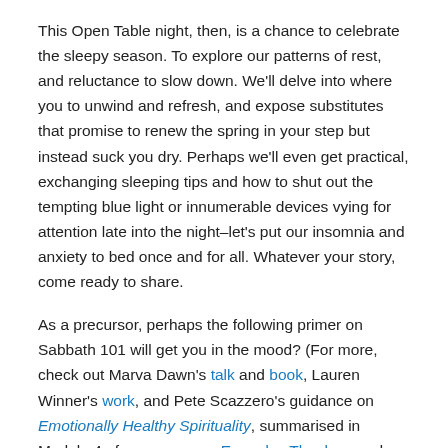This Open Table night, then, is a chance to celebrate the sleepy season. To explore our patterns of rest, and reluctance to slow down. We'll delve into where you to unwind and refresh, and expose substitutes that promise to renew the spring in your step but instead suck you dry. Perhaps we'll even get practical, exchanging sleeping tips and how to shut out the tempting blue light or innumerable devices vying for attention late into the night–let's put our insomnia and anxiety to bed once and for all. Whatever your story, come ready to share.
As a precursor, perhaps the following primer on Sabbath 101 will get you in the mood? (For more, check out Marva Dawn's talk and book, Lauren Winner's work, and Pete Scazzero's guidance on Emotionally Healthy Spirituality, summarised in Module 4 of my course on Everyday Theology and Module 13 of Christian Worldview.)